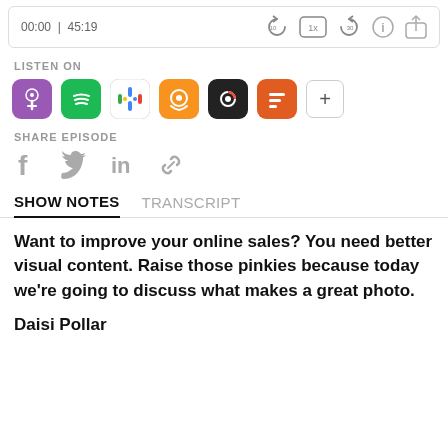[Figure (screenshot): Podcast player bar showing time 00:00 | 45:19 with playback controls including rewind 10, 1x speed, forward 30, info and share buttons]
LISTEN ON
[Figure (infographic): Row of podcast platform icons: Apple Podcasts (purple), Spotify (green), Google Podcasts (colorful dots), Overcast (orange), Pocket Casts (dark), Castbox (orange/red), plus button]
SHARE EPISODE
[Figure (infographic): Social share icons: Facebook (f), Twitter (bird), LinkedIn (in), link/chain icon]
SHOW NOTES   TRANSCRIPT
Want to improve your online sales? You need better visual content. Raise those pinkies because today we're going to discuss what makes a great photo.
Daisi Pollar